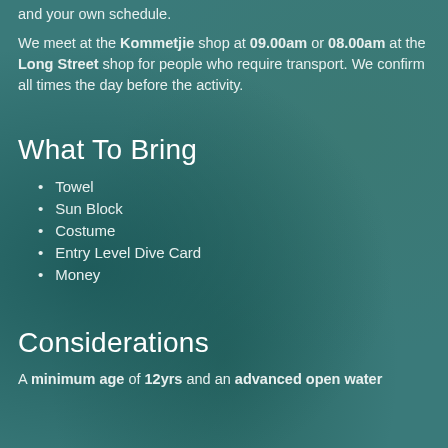and your own schedule.
We meet at the Kommetjie shop at 09.00am or 08.00am at the Long Street shop for people who require transport. We confirm all times the day before the activity.
What To Bring
Towel
Sun Block
Costume
Entry Level Dive Card
Money
Considerations
A minimum age of 12yrs and an advanced open water